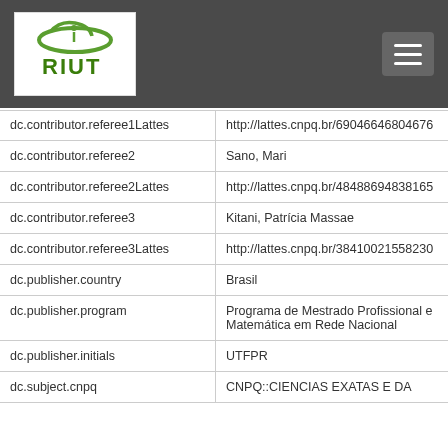[Figure (logo): RIUT institutional repository logo with green circular swoosh and text RIUT on white background]
| Field | Value |
| --- | --- |
| dc.contributor.referee1Lattes | http://lattes.cnpq.br/69046646804676... |
| dc.contributor.referee2 | Sano, Mari |
| dc.contributor.referee2Lattes | http://lattes.cnpq.br/48488694838165... |
| dc.contributor.referee3 | Kitani, Patrícia Massae |
| dc.contributor.referee3Lattes | http://lattes.cnpq.br/38410021558230... |
| dc.publisher.country | Brasil |
| dc.publisher.program | Programa de Mestrado Profissional e Matemática em Rede Nacional |
| dc.publisher.initials | UTFPR |
| dc.subject.cnpq | CNPQ::CIENCIAS EXATAS E DA TERRA::MATEMATICA... |